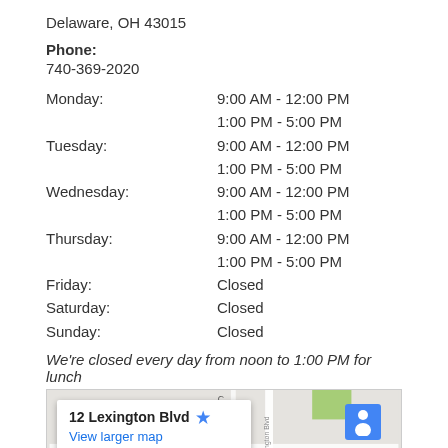Delaware, OH 43015
Phone:
740-369-2020
| Day | Hours |
| --- | --- |
| Monday: | 9:00 AM - 12:00 PM
1:00 PM - 5:00 PM |
| Tuesday: | 9:00 AM - 12:00 PM
1:00 PM - 5:00 PM |
| Wednesday: | 9:00 AM - 12:00 PM
1:00 PM - 5:00 PM |
| Thursday: | 9:00 AM - 12:00 PM
1:00 PM - 5:00 PM |
| Friday: | Closed |
| Saturday: | Closed |
| Sunday: | Closed |
We're closed every day from noon to 1:00 PM for lunch
[Figure (map): Google Map showing 12 Lexington Blvd with a card overlay showing the address and a View larger map link]